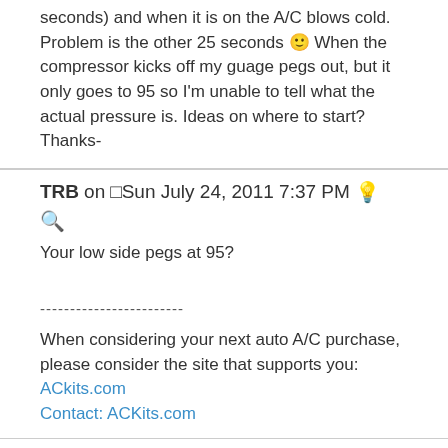seconds) and when it is on the A/C blows cold. Problem is the other 25 seconds 🙂 When the compressor kicks off my guage pegs out, but it only goes to 95 so I'm unable to tell what the actual pressure is. Ideas on where to start? Thanks-
TRB on Sun July 24, 2011 7:37 PM
Your low side pegs at 95?
When considering your next auto A/C purchase, please consider the site that supports you: ACkits.com
Contact: ACKits.com
Serapium on Sun July 24, 2011 8:40 PM
Yep. As soon as the compressor shut off the pressure reading on the low side spikes WAY up. Guage only goes to 95, so I'm not sure how high it's actually spiking. When the compressor re-engages the pressure drops slowly back down to 45. Seems like as soon as the pressure reaches 45 is when the compressor shut off. At idle the pressure never drops below about 48 or so, and the compressor remains engaged.